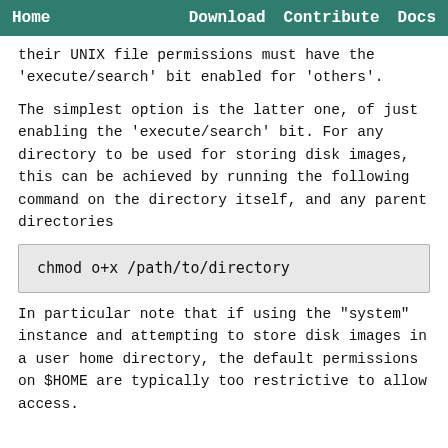Home   Download   Contribute   Docs
their UNIX file permissions must have the 'execute/search' bit enabled for 'others'.
The simplest option is the latter one, of just enabling the 'execute/search' bit. For any directory to be used for storing disk images, this can be achieved by running the following command on the directory itself, and any parent directories
chmod o+x /path/to/directory
In particular note that if using the "system" instance and attempting to store disk images in a user home directory, the default permissions on $HOME are typically too restrictive to allow access.